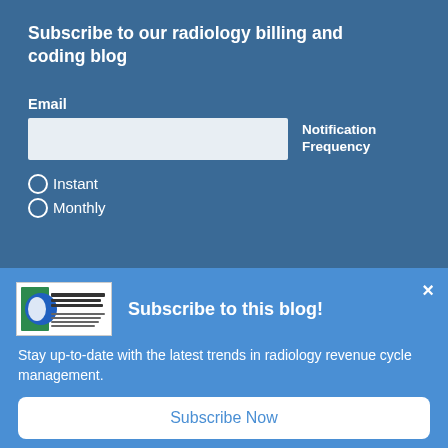Subscribe to our radiology billing and coding blog
Email
Notification Frequency
Instant
Monthly
[Figure (logo): Healthcare Administration Partners logo with green and blue circular icon and text]
Subscribe to this blog!
Stay up-to-date with the latest trends in radiology revenue cycle management.
Subscribe Now